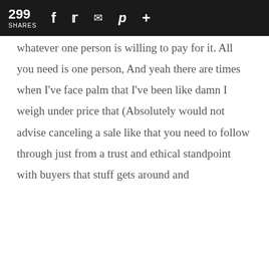299 SHARES
whatever one person is willing to pay for it. All you need is one person, And yeah there are times when I've face palm that I've been like damn I weigh under price that (Absolutely would not advise canceling a sale like that you need to follow through just from a trust and ethical standpoint with buyers that stuff gets around and